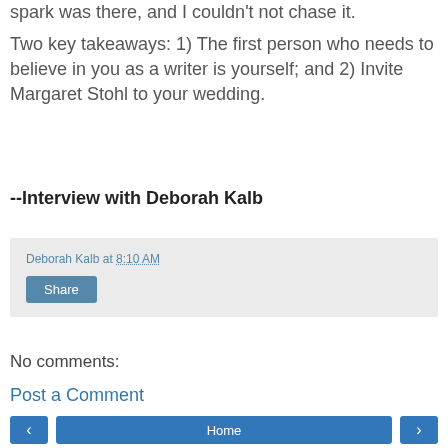spark was there, and I couldn't not chase it.
Two key takeaways: 1) The first person who needs to believe in you as a writer is yourself; and 2) Invite Margaret Stohl to your wedding.
--Interview with Deborah Kalb
Deborah Kalb at 8:10 AM
Share
No comments:
Post a Comment
Home
View web version